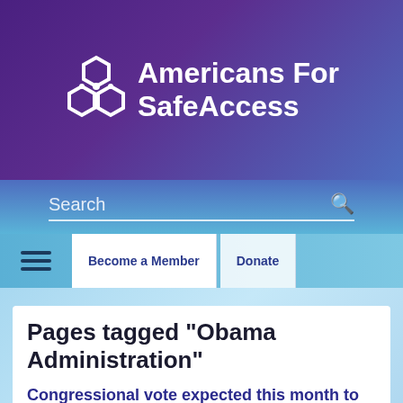[Figure (logo): Americans For Safe Access logo — white hexagon/molecule icon with white text on purple gradient background]
Search
Become a Member   Donate
Pages tagged "Obama Administration"
Congressional vote expected this month to restrict DOJ enforcement against state-compliant patients like the "Kettle Falls 5"
POSTED ON BLOGS BY AMERICANS FOR SAFE ACCESS · MAY 14, 2014 4:34 PM